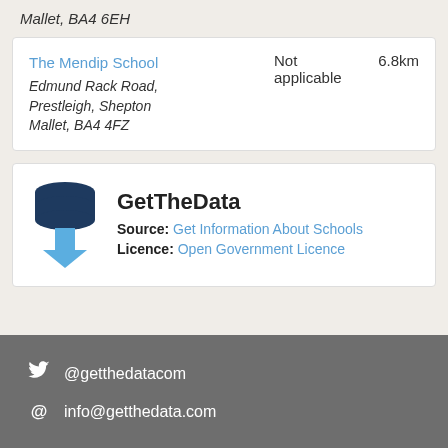Mallet, BA4 6EH
| School | Status | Distance |
| --- | --- | --- |
| The Mendip School
Edmund Rack Road, Prestleigh, Shepton Mallet, BA4 4FZ | Not applicable | 6.8km |
[Figure (logo): GetTheData logo - stacked database cylinders with blue download arrow]
GetTheData
Source: Get Information About Schools
Licence: Open Government Licence
@getthedatacom
info@getthedata.com